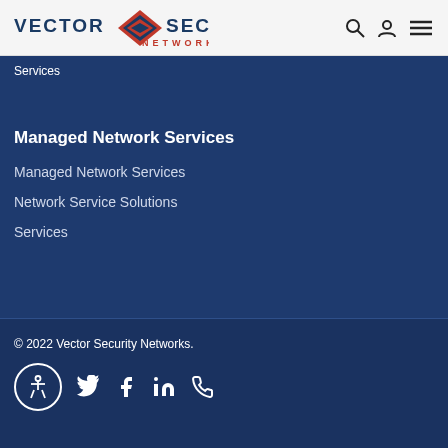[Figure (logo): Vector Security Networks logo with diamond graphic, blue text and red NETWORKS subtitle, plus search, user, and menu icons]
Services
Managed Network Services
Managed Network Services
Network Service Solutions
Services
© 2022 Vector Security Networks.